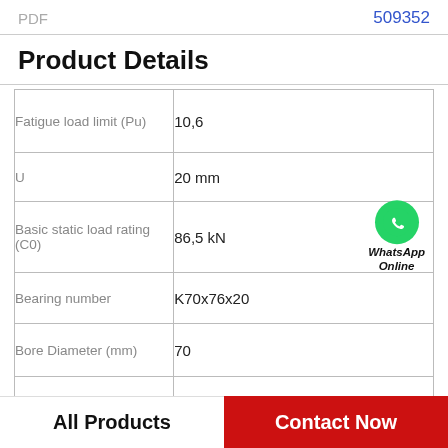PDF   509352
Product Details
| Property | Value |
| --- | --- |
| Fatigue load limit (Pu) | 10,6 |
| U | 20 mm |
| Basic static load rating (C0) | 86,5 kN |
| Bearing number | K70x76x20 |
| Bore Diameter (mm) | 70 |
| Weight | 0,071 Kg |
[Figure (logo): WhatsApp Online green circle phone icon with italic bold text 'WhatsApp Online']
All Products   Contact Now